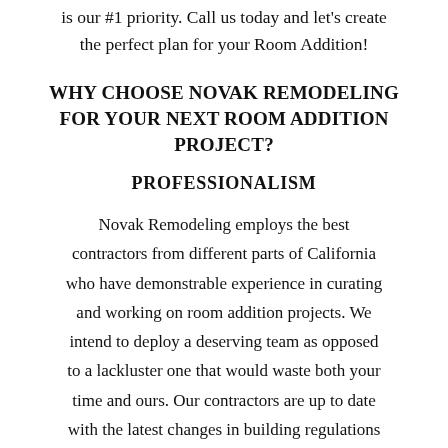is our #1 priority. Call us today and let's create the perfect plan for your Room Addition!
WHY CHOOSE NOVAK REMODELING FOR YOUR NEXT ROOM ADDITION PROJECT?
PROFESSIONALISM
Novak Remodeling employs the best contractors from different parts of California who have demonstrable experience in curating and working on room addition projects. We intend to deploy a deserving team as opposed to a lackluster one that would waste both your time and ours. Our contractors are up to date with the latest changes in building regulations